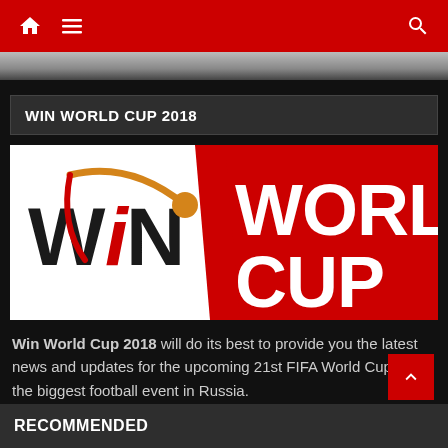Navigation bar with home, menu, and search icons
WIN WORLD CUP 2018
[Figure (logo): Win World Cup 2018 logo — left white panel with 'WIN' text and swoosh arc in orange/gold with a ball, right red panel with 'WORLD CUP' in large white bold text]
Win World Cup 2018 will do its best to provide you the latest news and updates for the upcoming 21st FIFA World Cup 2018, the biggest football event in Russia.
RECOMMENDED